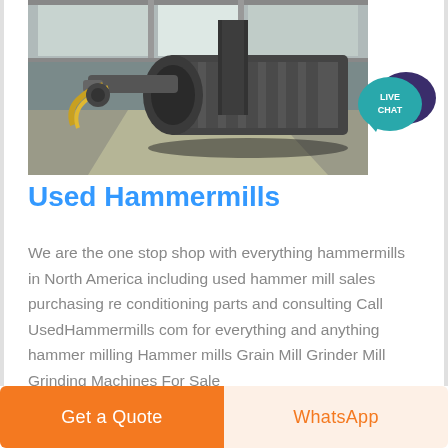[Figure (photo): Industrial hammer mill machine photographed from above in a warehouse/factory setting with windows visible in background. Large cylindrical grinding machine on a concrete floor.]
[Figure (other): Live Chat badge — teal speech bubble with 'LIVE CHAT' text and a dark purple speech bubble icon behind it]
Used Hammermills
We are the one stop shop with everything hammermills in North America including used hammer mill sales purchasing re conditioning parts and consulting Call UsedHammermills com for everything and anything hammer milling Hammer mills Grain Mill Grinder Mill Grinding Machines For Sale
Get a Quote
WhatsApp